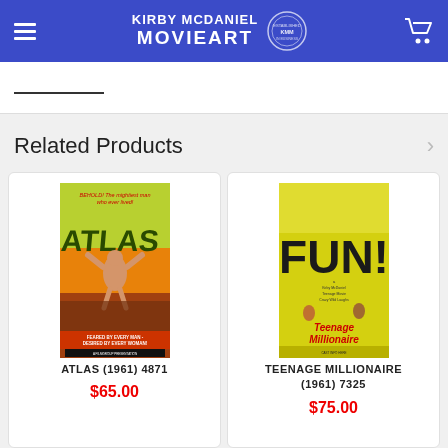KIRBY MCDANIEL MOVIEART
Related Products
[Figure (photo): Movie poster for ATLAS (1961) - yellow/green background with muscular man, text 'BEHOLD! The mightiest man who ever lived!', 'FEARED BY EVERY MAN - DESIRED BY EVERY WOMAN!']
ATLAS (1961) 4871
$65.00
[Figure (photo): Movie poster for TEENAGE MILLIONAIRE (1961) - yellow background with FUN! text prominently displayed, people illustrated, 'Teenage Millionaire' text at bottom]
TEENAGE MILLIONAIRE (1961) 7325
$75.00